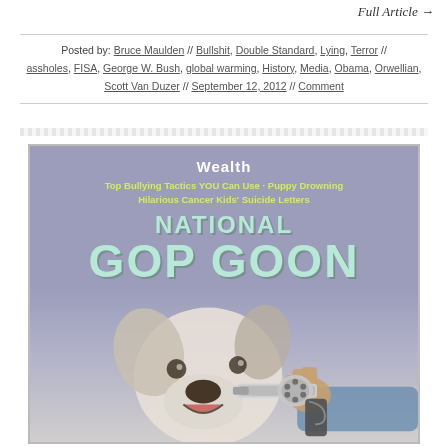Full Article →
Posted by: Bruce Maulden // Bullshit, Double Standard, Lying, Terror // assholes, FISA, George W. Bush, global warming, History, Media, Obama, Orwellian, Scott Van Duzer // September 12, 2012 // Comment
[Figure (illustration): Satirical magazine cover titled 'National GOP Goon' - a parody publication. Shows text 'Wealth' at top, subheadings 'Top Bullying Tactics YOU Can Use · Puppy Drowning' and 'Hilarious Cancer Kids\u2019 Suicide Letters', large title 'NATIONAL GOP GOON', date line 'January 2011, THE DOOMER MAGAZINE  No Cents', and a photo of a dog with a gun pointed at its head.]